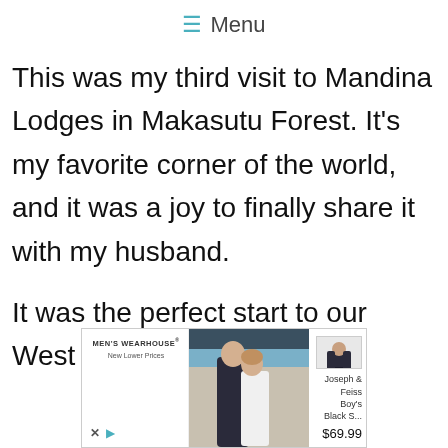☰ Menu
This was my third visit to Mandina Lodges in Makasutu Forest. It's my favorite corner of the world, and it was a joy to finally share it with my husband.
It was the perfect start to our West African honeymoon.
[Figure (other): Advertisement for Men's Wearhouse featuring a couple in formal wear and a boy's suit product listing for Joseph & Feiss Boy's Black S... priced at $69.99]